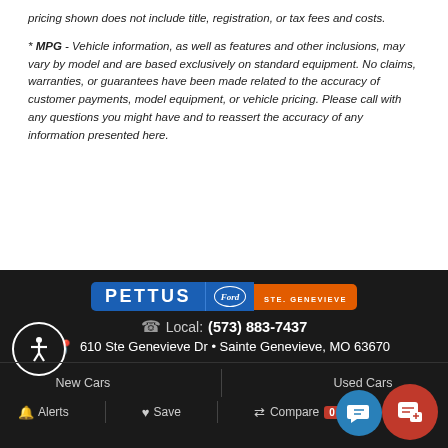pricing shown does not include title, registration, or tax fees and costs.
* MPG - Vehicle information, as well as features and other inclusions, may vary by model and are based exclusively on standard equipment. No claims, warranties, or guarantees have been made related to the accuracy of customer payments, model equipment, or vehicle pricing. Please call with any questions you might have and to reassert the accuracy of any information presented here.
PETTUS Ford STE. GENEVIEVE
Local: (573) 883-7437
610 Ste Genevieve Dr • Sainte Genevieve, MO 63670
New Cars | Used Cars
Alerts | Save | Compare 0